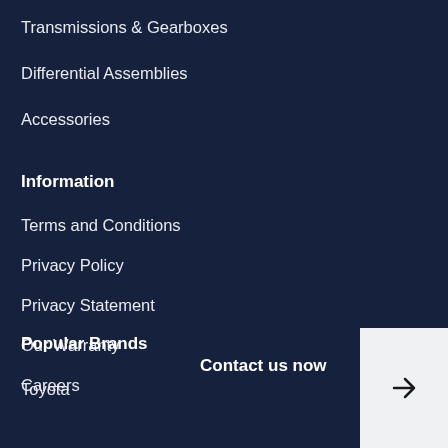Transmissions & Gearboxes
Differential Assemblies
Accessories
Information
Terms and Conditions
Privacy Policy
Privacy Statement
Our Warranty
Careers
Popular Brands
Toyota
Contact us now
[Figure (other): Arrow button pointing right, white background square]